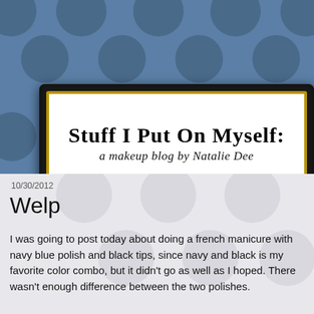[Figure (illustration): Blog header image: decorative black ornate picture frame on a blue polka-dot background containing the blog title 'Stuff I Put On Myself: a makeup blog by Natalie Dee']
10/30/2012
Welp
I was going to post today about doing a french manicure with navy blue polish and black tips, since navy and black is my favorite color combo, but it didn't go as well as I hoped. There wasn't enough difference between the two polishes.